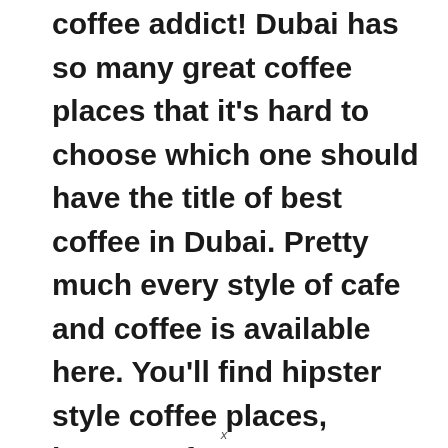coffee addict! Dubai has so many great coffee places that it's hard to choose which one should have the title of best coffee in Dubai. Pretty much every style of cafe and coffee is available here. You'll find hipster style coffee places, luxury cafes, cute tea houses plus your usual high street chains. So lets get to it and here is my list of the best coffee shops in Dubai!
x